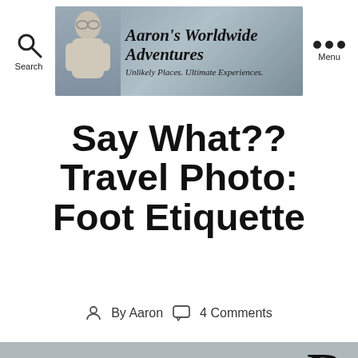Aaron's Worldwide Adventures – Unlikely Places. Ultimate Experiences.
Say What?? Travel Photo: Foot Etiquette
By Aaron   4 Comments
Buddhist temples, much like all religious structures, have a certain code of etiquette attached to them, the most important of which deals with your feet. Often times it